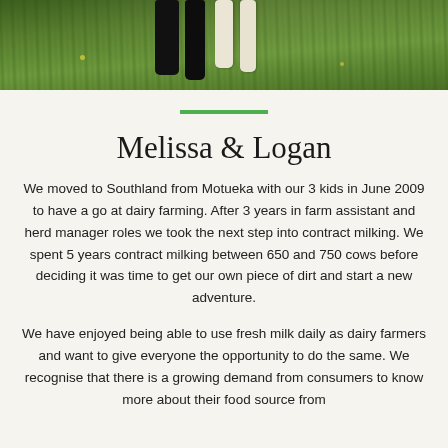[Figure (photo): Photo of dairy farm scene with animal legs visible against green grass background]
Melissa & Logan
We moved to Southland from Motueka with our 3 kids in June 2009 to have a go at dairy farming. After 3 years in farm assistant and herd manager roles we took the next step into contract milking. We spent 5 years contract milking between 650 and 750 cows before deciding it was time to get our own piece of dirt and start a new adventure.
We have enjoyed being able to use fresh milk daily as dairy farmers and want to give everyone the opportunity to do the same. We recognise that there is a growing demand from consumers to know more about their food source from...